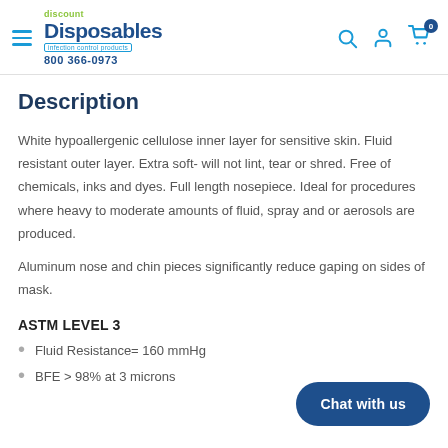discount Disposables infection control products 800 366-0973
Description
White hypoallergenic cellulose inner layer for sensitive skin. Fluid resistant outer layer. Extra soft- will not lint, tear or shred. Free of chemicals, inks and dyes. Full length nosepiece. Ideal for procedures where heavy to moderate amounts of fluid, spray and or aerosols are produced.
Aluminum nose and chin pieces significantly reduce gaping on sides of mask.
ASTM LEVEL 3
Fluid Resistance= 160 mmHg
BFE > 98% at 3 microns